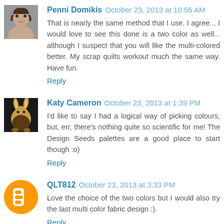Penni Domikis  October 23, 2013 at 10:56 AM
That is nearly the same method that I use. I agree... I would love to see this done is a two color as well... although I suspect that you will like the multi-colored better. My scrap quilts workout much the same way. Have fun.
Reply
Katy Cameron  October 23, 2013 at 1:39 PM
I'd like to say I had a logical way of picking colours, but, err, there's nothing quite so scientific for me! The Design Seeds palettes are a good place to start though :o)
Reply
QLT812  October 23, 2013 at 3:33 PM
Love the choice of the two colors but I would also try the last multi color fabric design :).
Reply